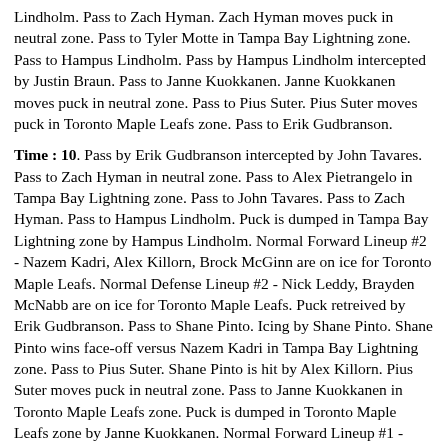Lindholm. Pass to Zach Hyman. Zach Hyman moves puck in neutral zone. Pass to Tyler Motte in Tampa Bay Lightning zone. Pass to Hampus Lindholm. Pass by Hampus Lindholm intercepted by Justin Braun. Pass to Janne Kuokkanen. Janne Kuokkanen moves puck in neutral zone. Pass to Pius Suter. Pius Suter moves puck in Toronto Maple Leafs zone. Pass to Erik Gudbranson.
Time : 10. Pass by Erik Gudbranson intercepted by John Tavares. Pass to Zach Hyman in neutral zone. Pass to Alex Pietrangelo in Tampa Bay Lightning zone. Pass to John Tavares. Pass to Zach Hyman. Pass to Hampus Lindholm. Puck is dumped in Tampa Bay Lightning zone by Hampus Lindholm. Normal Forward Lineup #2 - Nazem Kadri, Alex Killorn, Brock McGinn are on ice for Toronto Maple Leafs. Normal Defense Lineup #2 - Nick Leddy, Brayden McNabb are on ice for Toronto Maple Leafs. Puck retreived by Erik Gudbranson. Pass to Shane Pinto. Icing by Shane Pinto. Shane Pinto wins face-off versus Nazem Kadri in Tampa Bay Lightning zone. Pass to Pius Suter. Shane Pinto is hit by Alex Killorn. Pius Suter moves puck in neutral zone. Pass to Janne Kuokkanen in Toronto Maple Leafs zone. Puck is dumped in Toronto Maple Leafs zone by Janne Kuokkanen. Normal Forward Lineup #1 - Christian Dvorak, Erik Haula, Claude Giroux are on ice for Tampa Bay Lightning. Normal Defense Lineup #4 - Carson Soucy, Brent Burns are on ice for Tampa Bay Lightning. Free Puck Retrieved by Jack Campbell. Pass to Brayden McNabb. Pass to Nazem Kadri. Nazem Kadri moves puck in neutral zone. Pass by